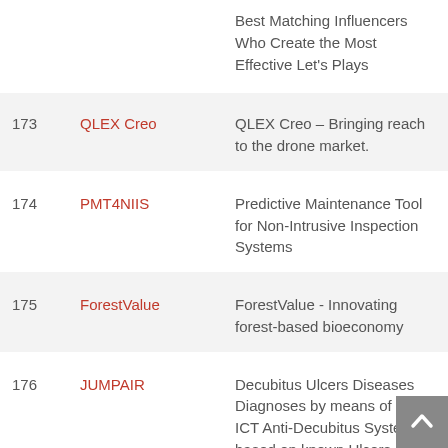| # | Name | Description |
| --- | --- | --- |
|  |  | Best Matching Influencers Who Create the Most Effective Let's Plays |
| 173 | QLEX Creo | QLEX Creo – Bringing reach to the drone market. |
| 174 | PMT4NIIS | Predictive Maintenance Tool for Non-Intrusive Inspection Systems |
| 175 | ForestValue | ForestValue - Innovating forest-based bioeconomy |
| 176 | JUMPAIR | Decubitus Ulcers Diseases Diagnoses by means of Smart ICT Anti-Decubitus System based on known Ulcers |